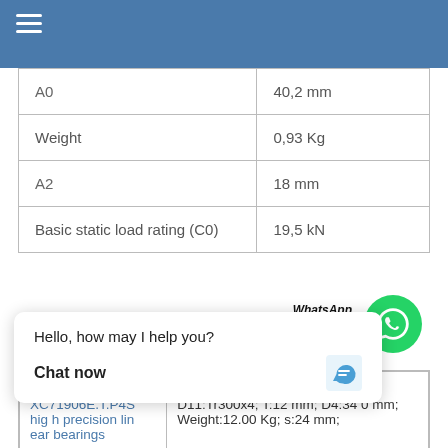| A0 | 40,2 mm |
| Weight | 0,93 Kg |
| A2 | 18 mm |
| Basic static load rating (C0) | 19,5 kN |
| Barden XC71906E.T.P4S high precision linear bearings | D3:370 mm; Bn:36 mm; Thread D11:Tr300x4; T:12 mm; D4:340 mm; Weight:12.00 Kg; s:24 mm; |
Hello, how may I help you?
Chat now
mm; C:25.7 kN; S:17.5 mm; mm; A1:12.5 mm; s1:21.45 mm: N:14mm; Designation of b 7-21G2T20; T min.: 5.2 kN;
6E.T.P4S preci